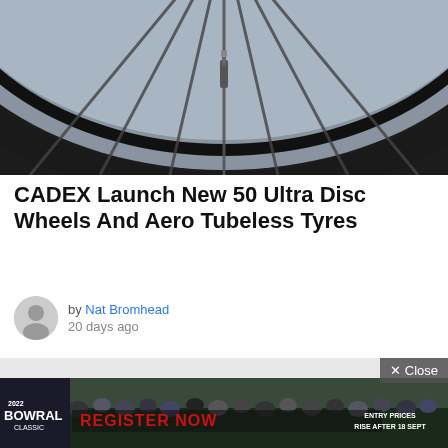[Figure (photo): Close-up photo of a bicycle wheel from below, showing the rim, spokes and valve stem against a light background]
CADEX Launch New 50 Ultra Disc Wheels And Aero Tubeless Tyres
by Nat Bromhead
20 days ago
[Figure (photo): Advertisement banner: Bowral Classic 2022 cycling event with crowd of cyclists and 'REGISTER NOW - ENTRY PRICES RISE AFTER 18 SEPT' text]